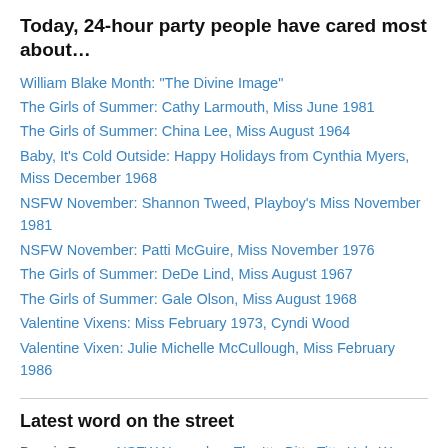Today, 24-hour party people have cared most about…
William Blake Month: "The Divine Image"
The Girls of Summer: Cathy Larmouth, Miss June 1981
The Girls of Summer: China Lee, Miss August 1964
Baby, It's Cold Outside: Happy Holidays from Cynthia Myers, Miss December 1968
NSFW November: Shannon Tweed, Playboy's Miss November 1981
NSFW November: Patti McGuire, Miss November 1976
The Girls of Summer: DeDe Lind, Miss August 1967
The Girls of Summer: Gale Olson, Miss August 1968
Valentine Vixens: Miss February 1973, Cyndi Wood
Valentine Vixen: Julie Michelle McCullough, Miss February 1986
Latest word on the street
Dennis Rog on NSFW November: The Itty-Bitty-Titty Holy War — marvelous Miss November 2001, Lindsey Vuolo
aitchcs on Valentine Vixen: Cheryl Kubert, Miss February 1958
aitchcs on Valentine Vixen: Cheryl Kubert, Miss February 1958